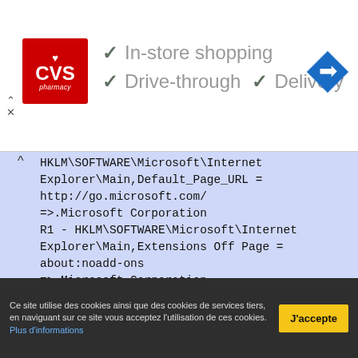[Figure (logo): CVS Pharmacy advertisement banner with logo and checkmarks for In-store shopping, Drive-through, and Delivery]
HKLM\SOFTWARE\Microsoft\Internet Explorer\Main,Default_Page_URL = http://go.microsoft.com/
=>.Microsoft Corporation
R1 - HKLM\SOFTWARE\Microsoft\Internet Explorer\Main,Extensions Off Page = about:noadd-ons
=>.Microsoft Corporation
R1 - HKLM\SOFTWARE\Microsoft\Internet Explorer\Main,Security Risk Page = about:securityrisk
=>.Microsoft Corporation
R1 - HKLM\SOFTWARE\Microsoft\Internet Explorer\Main,Default_Search_URL = http://go.microsoft.com/
=>.Microsoft Corporation
R1 - HKLM\SOFTWARE\Wow6432Node\Microsoft\Internet Explorer\Main,Search Page = http://go.microsoft.com/
=>.Microsoft Corporation
Ce site utilise des cookies ainsi que des cookies de services tiers, en naviguant sur ce site vous acceptez l'utilisation de ces cookies. Plus d'informations